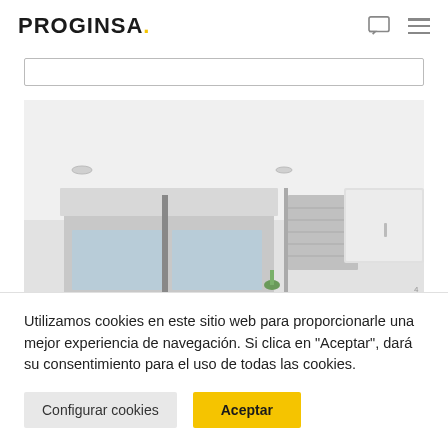PROGINSA.
[Figure (screenshot): Search bar input field, empty, with border]
[Figure (photo): Interior room photo showing white ceiling with recessed lights, window with roller blind, and white cabinet/AC unit on right wall]
Utilizamos cookies en este sitio web para proporcionarle una mejor experiencia de navegación. Si clica en "Aceptar", dará su consentimiento para el uso de todas las cookies.
Configurar cookies
Aceptar